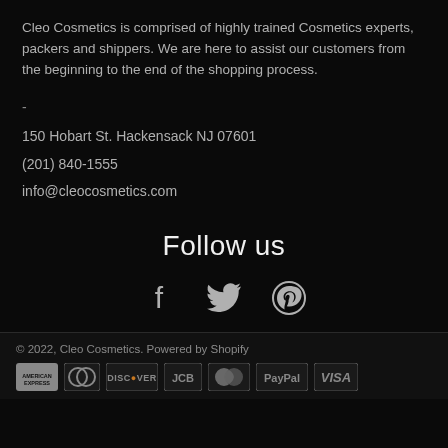Cleo Cosmetics is comprised of highly trained Cosmetics experts, packers and shippers. We are here to assist our customers from the beginning to the end of the shopping process.
-
150 Hobart St. Hackensack NJ 07601
(201) 840-1555
info@cleocosmetics.com
Follow us
[Figure (illustration): Social media icons: Facebook, Twitter, Pinterest]
© 2022, Cleo Cosmetics. Powered by Shopify
[Figure (illustration): Payment method icons: American Express, Diners Club, Discover, JCB, MasterCard, PayPal, Visa]